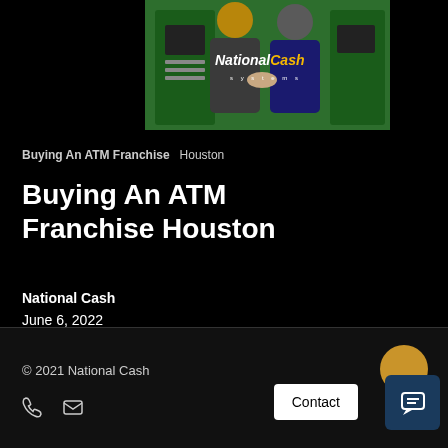[Figure (photo): Two people shaking hands near green ATM machines with National Cash Systems logo overlay]
Buying An ATM Franchise   Houston
Buying An ATM Franchise Houston
National Cash
June 6, 2022
© 2021 National Cash